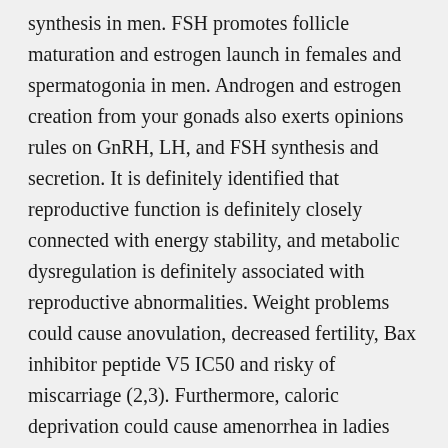synthesis in men. FSH promotes follicle maturation and estrogen launch in females and spermatogonia in men. Androgen and estrogen creation from your gonads also exerts opinions rules on GnRH, LH, and FSH synthesis and secretion. It is definitely identified that reproductive function is definitely closely connected with energy stability, and metabolic dysregulation is definitely associated with reproductive abnormalities. Weight problems could cause anovulation, decreased fertility, Bax inhibitor peptide V5 IC50 and risky of miscarriage (2,3). Furthermore, caloric deprivation could cause amenorrhea in ladies (1,2). Consequently, both the insufficiency and surplus of Bax inhibitor peptide V5 IC50 nutrition can lead to